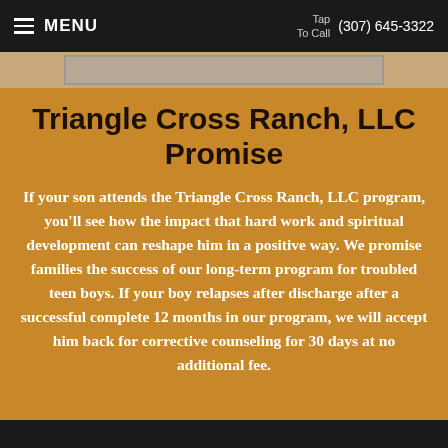MENU  Tap To Call  (307) 645-3322
Triangle Cross Ranch, LLC Promise
If your son attends the Triangle Cross Ranch, LLC program, you'll see how the impact that hard work and spiritual development can reshape him in a positive way. We promise families the success of our long-term program for troubled teen boys. If your boy relapses after discharge after a successful complete 12 months in our program, we will accept him back for corrective counseling for 30 days at no additional fee.